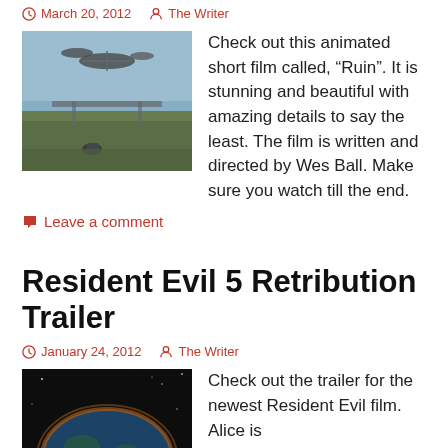March 20, 2012   The Writer
[Figure (photo): Scene from animated short film 'Ruin' showing flying vehicles over a post-apocalyptic landscape with a motorcycle rider]
Check out this animated short film called, “Ruin”. It is stunning and beautiful with amazing details to say the least. The film is written and directed by Wes Ball. Make sure you watch till the end.
Leave a comment
Resident Evil 5 Retribution Trailer
January 24, 2012   The Writer
[Figure (photo): Dark image of Earth from space with glowing light, Resident Evil 5 Retribution trailer thumbnail]
Check out the trailer for the newest Resident Evil film. Alice is